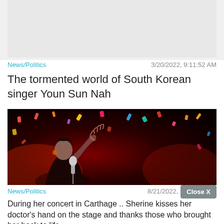[Figure (photo): Partial top image, cropped, light gray background placeholder]
News/Politics    3/20/2022, 9:11:52 AM
The tormented world of South Korean singer Youn Sun Nah
[Figure (photo): Concert photo of a female singer on stage waving hand, holding microphone, with colorful confetti falling against a red-lit dark background]
News/Politics    8/21/2022, 10:22:42 AM
Close X
During her concert in Carthage .. Sherine kisses her doctor's hand on the stage and thanks those who brought her back to life